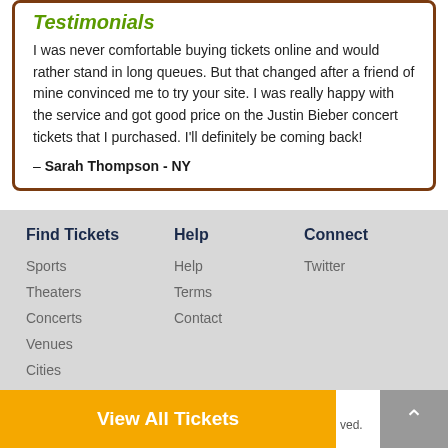Testimonials
I was never comfortable buying tickets online and would rather stand in long queues. But that changed after a friend of mine convinced me to try your site. I was really happy with the service and got good price on the Justin Bieber concert tickets that I purchased. I'll definitely be coming back!
– Sarah Thompson - NY
Find Tickets
Sports
Theaters
Concerts
Venues
Cities
Help
Help
Terms
Contact
Connect
Twitter
View All Tickets
ved.